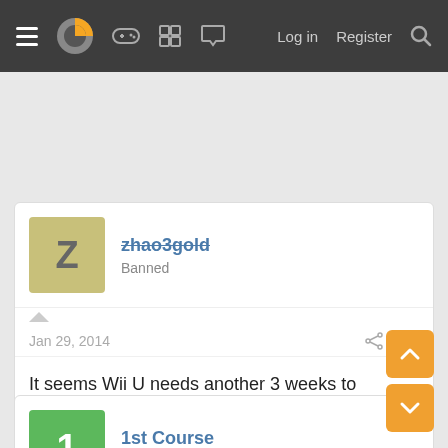≡ [logo] [gamepad icon] [grid icon] [chat icon]   Log in   Register   [search icon]
zhao3gold
Banned
Jan 29, 2014   #16
It seems Wii U needs another 3 weeks to surpass Xbox 360 in Japan...
1st Course
Member
Jan 29, 2014   #17